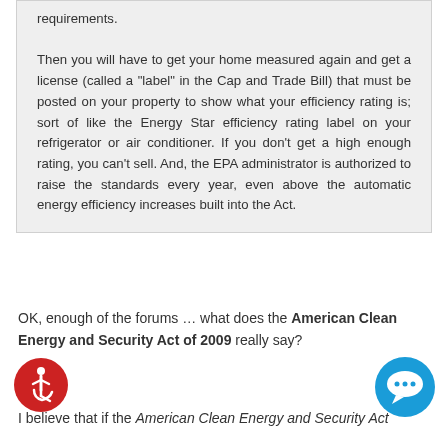requirements. Then you will have to get your home measured again and get a license (called a "label" in the Cap and Trade Bill) that must be posted on your property to show what your efficiency rating is; sort of like the Energy Star efficiency rating label on your refrigerator or air conditioner. If you don't get a high enough rating, you can't sell. And, the EPA administrator is authorized to raise the standards every year, even above the automatic energy efficiency increases built into the Act.
OK, enough of the forums … what does the American Clean Energy and Security Act of 2009 really say?
I believe that if the American Clean Energy and Security Act